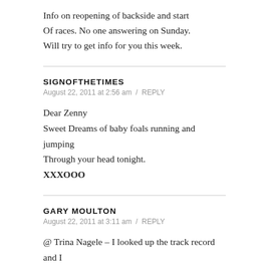Info on reopening of backside and start Of races. No one answering on Sunday. Will try to get info for you this week.
SIGNOFTHETIMES
August 22, 2011 at 2:56 am / REPLY
Dear Zenny
Sweet Dreams of baby foals running and jumping Through your head tonight.
XXXOOO
GARY MOULTON
August 22, 2011 at 3:11 am / REPLY
@ Trina Nagele – I looked up the track record and I think I'm wrong. Del Mar lists the track record as